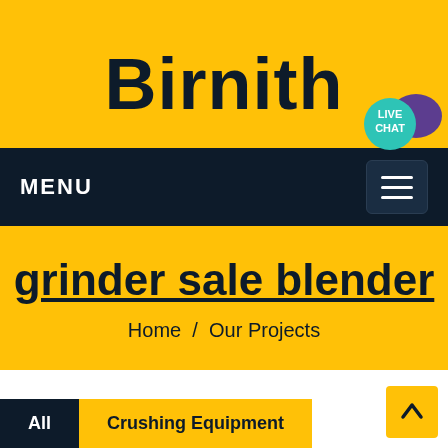Birnith
[Figure (illustration): Live chat button badge with teal circle and purple speech bubble icon]
MENU
grinder sale blender
Home / Our Projects
[Figure (illustration): Scroll-to-top yellow button with upward arrow]
All
Crushing Equipment